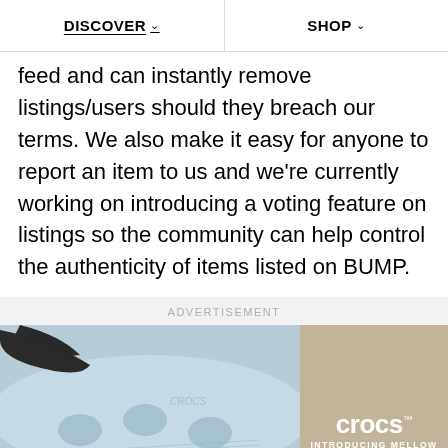DISCOVER  SHOP
feed and can instantly remove listings/users should they breach our terms. We also make it easy for anyone to report an item to us and we're currently working on introducing a voting feature on listings so the community can help control the authenticity of items listed on BUMP.
ADVERTISEMENT
[Figure (photo): Crocs advertisement showing a light blue Crocs slide sandal close-up with a dark strap, with the Crocs logo and 'INTRODUCING MELLOW' text on a tan background on the right side.]